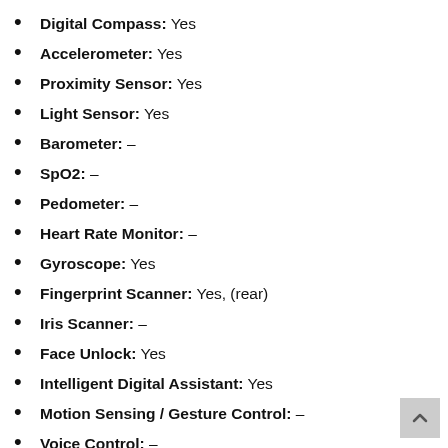Digital Compass: Yes
Accelerometer: Yes
Proximity Sensor: Yes
Light Sensor: Yes
Barometer: –
SpO2: –
Pedometer: –
Heart Rate Monitor: –
Gyroscope: Yes
Fingerprint Scanner: Yes, (rear)
Iris Scanner: –
Face Unlock: Yes
Intelligent Digital Assistant: Yes
Motion Sensing / Gesture Control: –
Voice Control: –